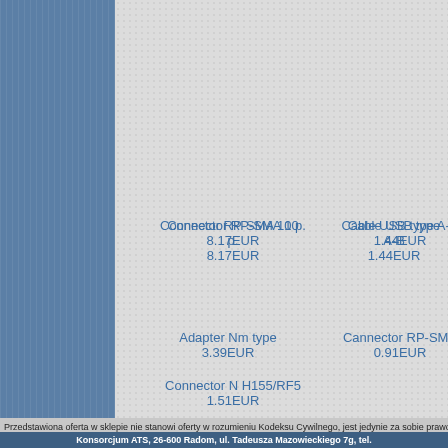Connector RP-SMA 10 p.
8.17EUR
Cable USB type A-B
1.44EUR
Adapter Nm type
3.39EUR
Cannector RP-SMA
0.91EUR
Connector N H155/RF5
1.51EUR
Przedstawiona oferta w sklepie nie stanowi oferty w rozumieniu Kodeksu Cywilnego, jest jedynie za sobie prawo do niezrealizowania zamówień z wa¿nyc
Konsorcjum ATS, 26-600 Radom, ul. Tadeusza Mazowieckiego 7g, tel.